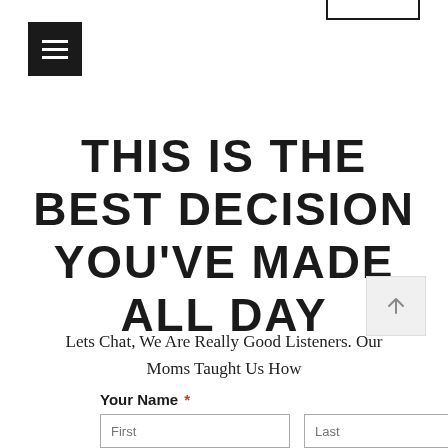[Figure (other): Hamburger menu icon — black square button with three white horizontal lines]
THIS IS THE BEST DECISION YOU'VE MADE ALL DAY
Lets Chat, We Are Really Good Listeners. Our Moms Taught Us How
[Figure (other): Scroll-to-top button: light grey square with an upward-pointing arrow]
Your Name *
First  Last